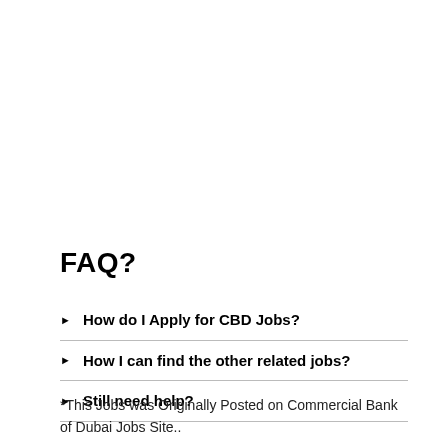FAQ?
How do I Apply for CBD Jobs?
How I can find the other related jobs?
Still need help?
*This Jobs was Originally Posted on Commercial Bank of Dubai Jobs Site..